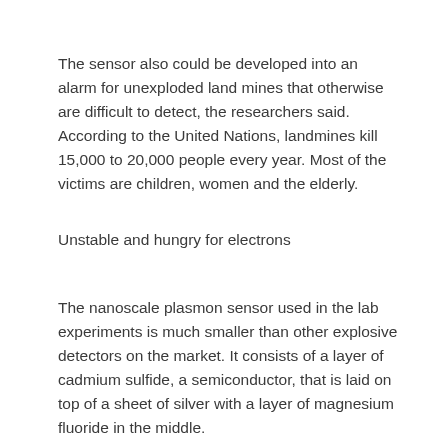The sensor also could be developed into an alarm for unexploded land mines that otherwise are difficult to detect, the researchers said. According to the United Nations, landmines kill 15,000 to 20,000 people every year. Most of the victims are children, women and the elderly.
Unstable and hungry for electrons
The nanoscale plasmon sensor used in the lab experiments is much smaller than other explosive detectors on the market. It consists of a layer of cadmium sulfide, a semiconductor, that is laid on top of a sheet of silver with a layer of magnesium fluoride in the middle.